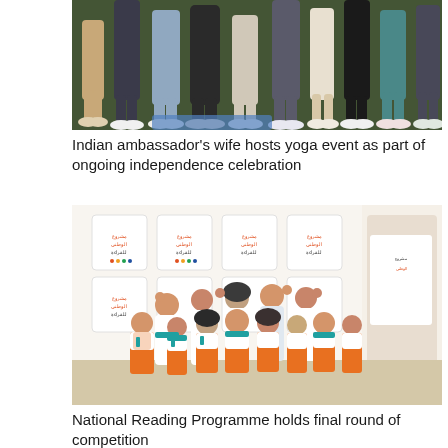[Figure (photo): Bottom halves of people's legs and feet standing on what appears to be a yoga event floor with carpet and yoga mat visible]
Indian ambassador's wife hosts yoga event as part of ongoing independence celebration
[Figure (photo): Group of children and adults wearing orange and white uniforms with teal accents, standing and posing enthusiastically in front of a backdrop with Arabic text related to the National Reading Programme]
National Reading Programme holds final round of competition